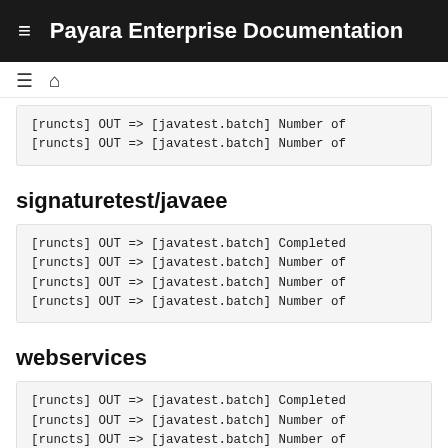Payara Enterprise Documentation
[runcts] OUT => [javatest.batch] Number of
[runcts] OUT => [javatest.batch] Number of
signaturetest/javaee
[runcts] OUT => [javatest.batch] Completed
[runcts] OUT => [javatest.batch] Number of
[runcts] OUT => [javatest.batch] Number of
[runcts] OUT => [javatest.batch] Number of
webservices
[runcts] OUT => [javatest.batch] Completed
[runcts] OUT => [javatest.batch] Number of
[runcts] OUT => [javatest.batch] Number of